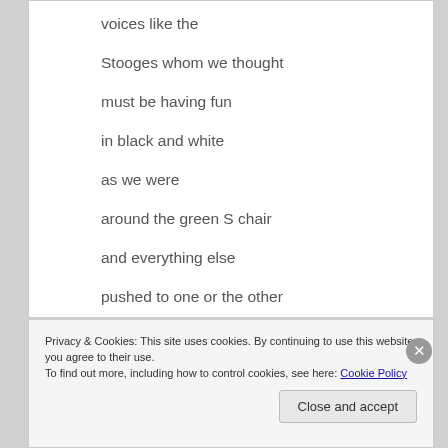voices like the
Stooges whom we thought
must be having fun
in black and white
as we were
around the green S chair
and everything else
pushed to one or the other
Privacy & Cookies: This site uses cookies. By continuing to use this website, you agree to their use.
To find out more, including how to control cookies, see here: Cookie Policy
Close and accept